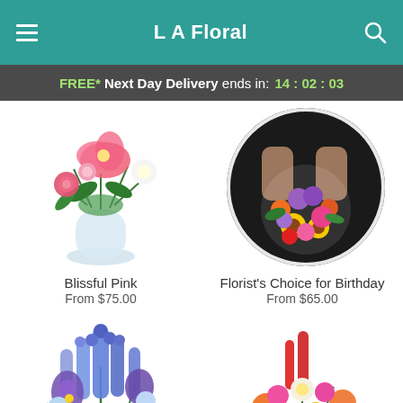L A Floral
FREE* Next Day Delivery ends in: 14:02:03
[Figure (photo): Blissful Pink flower arrangement in a glass vase with pink lilies, roses, and white flowers]
Blissful Pink
From $75.00
[Figure (photo): Florist's Choice for Birthday - colorful bouquet being arranged by a florist, shown in a circular crop]
Florist's Choice for Birthday
From $65.00
[Figure (photo): Blue and purple floral arrangement with iris and delphinium flowers]
[Figure (photo): Colorful mixed floral arrangement with orange, pink, red and yellow flowers]